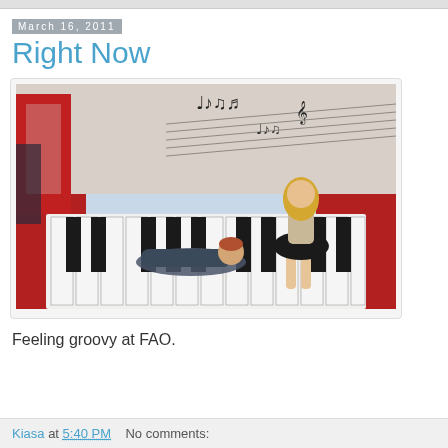March 16, 2011
Right Now
[Figure (photo): Two children on a large floor piano keyboard at FAO Schwarz. One child is lying flat on the black and white piano keys, another child (a girl) is standing and dancing on the keys. The background shows red walls and a mural with musical notes.]
Feeling groovy at FAO.
Kiasa at 5:40 PM    No comments: